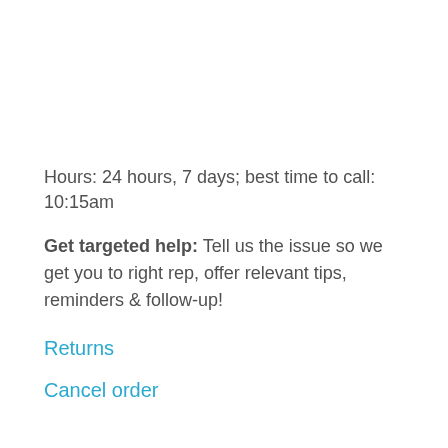Hours: 24 hours, 7 days; best time to call: 10:15am
Get targeted help: Tell us the issue so we get you to right rep, offer relevant tips, reminders & follow-up!
Returns
Cancel order